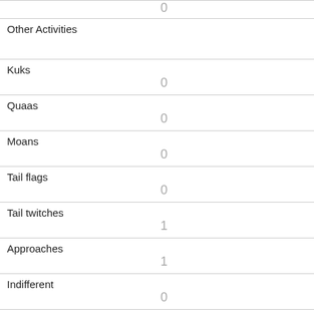|  | 0 |
| Other Activities |  |
| Kuks | 0 |
| Quaas | 0 |
| Moans | 0 |
| Tail flags | 0 |
| Tail twitches | 1 |
| Approaches | 1 |
| Indifferent | 0 |
| Runs from | 1 |
| Other Interactions |  |